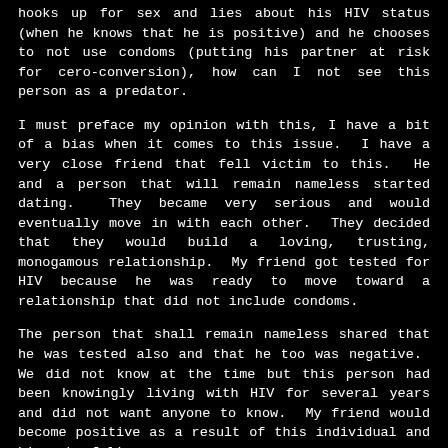hooks up for sex and lies about his HIV status (when he knows that he is positive) and he chooses to not use condoms (putting his partner at risk for cero-conversion), how can I not see this person as a predator.
I must preface my opinion with this, I have a bit of a bias when it comes to this issue.  I have a very close friend that fell victim to this.  He and a person that will remain nameless started dating.  They became very serious and would eventually move in with each other.  They decided that they would build a loving, trusting, monogamous relationship.  My friend got tested for HIV because he was ready to move toward a relationship that did not include condoms.
The person that shall remain nameless shared that he was tested also and that he too was negative.  We did not know at the time but this person had been knowingly living with HIV for several years and did not want anyone to know.  My friend would become positive as a result of this individual and his web of lies.